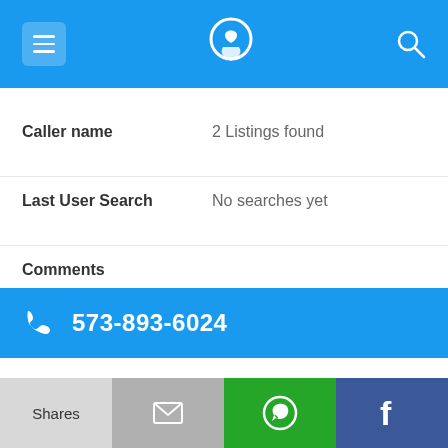[Figure (screenshot): Mobile app top navigation bar with menu hamburger icon, phone/location logo, and search icon on blue background]
Caller name	2 Listings found
Last User Search	No searches yet
Comments
573-893-6024
Alternate Form	5738936024
Caller name	2 Listings found
Last User Search	No searches yet
[Figure (screenshot): Bottom action bar with Shares, email, WhatsApp, and Facebook buttons]